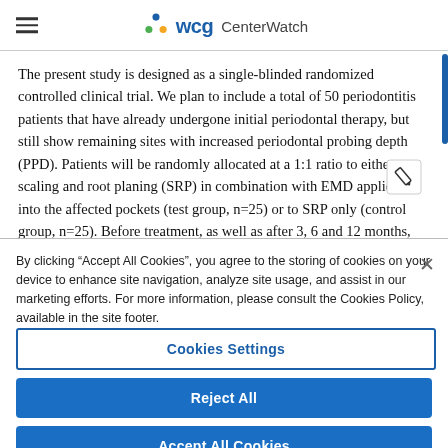WCG CenterWatch
The present study is designed as a single-blinded randomized controlled clinical trial. We plan to include a total of 50 periodontitis patients that have already undergone initial periodontal therapy, but still show remaining sites with increased periodontal probing depth (PPD). Patients will be randomly allocated at a 1:1 ratio to either scaling and root planing (SRP) in combination with EMD application into the affected pockets (test group, n=25) or to SRP only (control group, n=25). Before treatment, as well as after 3, 6 and 12 months,
By clicking “Accept All Cookies”, you agree to the storing of cookies on your device to enhance site navigation, analyze site usage, and assist in our marketing efforts. For more information, please consult the Cookies Policy, available in the site footer.
Cookies Settings
Reject All
Accept All Cookies